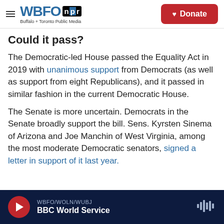WBFO npr — Buffalo + Toronto Public Media | Donate
Could it pass?
The Democratic-led House passed the Equality Act in 2019 with unanimous support from Democrats (as well as support from eight Republicans), and it passed in similar fashion in the current Democratic House.
The Senate is more uncertain. Democrats in the Senate broadly support the bill. Sens. Kyrsten Sinema of Arizona and Joe Manchin of West Virginia, among the most moderate Democratic senators, signed a letter in support of it last year.
WBFO/WOLN/WUBJ — BBC World Service